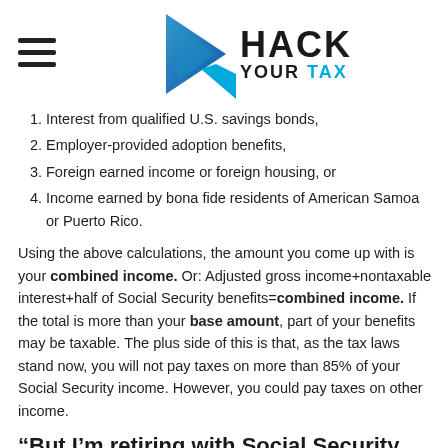[Figure (logo): Hack Your Tax logo with blue arrow/chevron graphic and text HACK YOUR TAX]
Interest from qualified U.S. savings bonds,
Employer-provided adoption benefits,
Foreign earned income or foreign housing, or
Income earned by bona fide residents of American Samoa or Puerto Rico.
Using the above calculations, the amount you come up with is your combined income. Or: Adjusted gross income+nontaxable interest+half of Social Security benefits=combined income. If the total is more than your base amount, part of your benefits may be taxable. The plus side of this is that, as the tax laws stand now, you will not pay taxes on more than 85% of your Social Security income. However, you could pay taxes on other income.
“But I’m retiring with Social Security, not